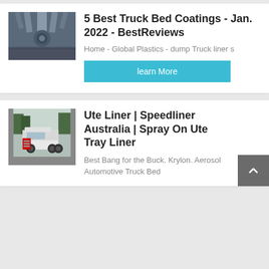[Figure (photo): Close-up of industrial metal pipes or truck undercarriage parts from below]
5 Best Truck Bed Coatings - Jan. 2022 - BestReviews
Home - Global Plastics - dump Truck liner s
learn More
[Figure (photo): White semi-truck / tractor cab parked outdoors with trees in background]
Ute Liner | Speedliner Australia | Spray On Ute Tray Liner
Best Bang for the Buck. Krylon. Aerosol Automotive Truck Bed